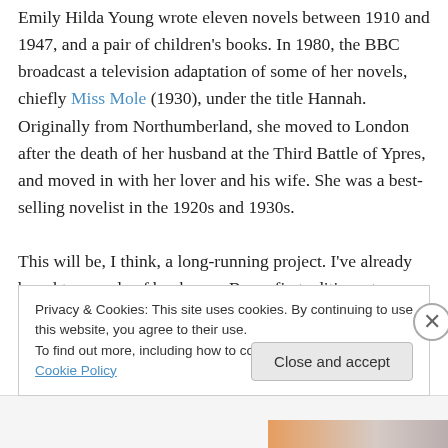Emily Hilda Young wrote eleven novels between 1910 and 1947, and a pair of children's books. In 1980, the BBC broadcast a television adaptation of some of her novels, chiefly Miss Mole (1930), under the title Hannah. Originally from Northumberland, she moved to London after the death of her husband at the Third Battle of Ypres, and moved in with her lover and his wife. She was a best-selling novelist in the 1920s and 1930s.
This will be, I think, a long-running project. I've already bought a couple of books on eBay – first editions, too, because first edition. And they proved cheaper than
Privacy & Cookies: This site uses cookies. By continuing to use this website, you agree to their use.
To find out more, including how to control cookies, see here: Cookie Policy